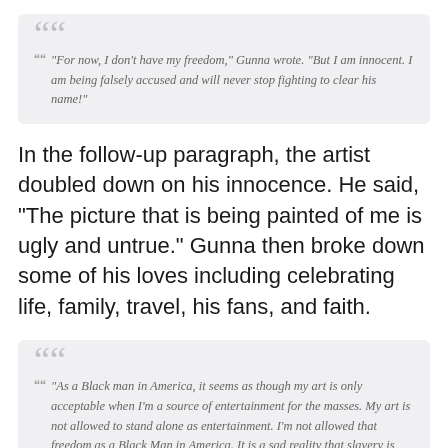“For now, I don’t have my freedom,” Gunna wrote. “But I am innocent. I am being falsely accused and will never stop fighting to clear his name!”
In the follow-up paragraph, the artist doubled down on his innocence. He said, “The picture that is being painted of me is ugly and untrue.” Gunna then broke down some of his loves including celebrating life, family, travel, his fans, and faith.
“As a Black man in America, it seems as though my art is only acceptable when I’m a source of entertainment for the masses. My art is not allowed to stand alone as entertainment. I’m not allowed that freedom as a Black Man in America. It is a sad reality that slavery is still alive in